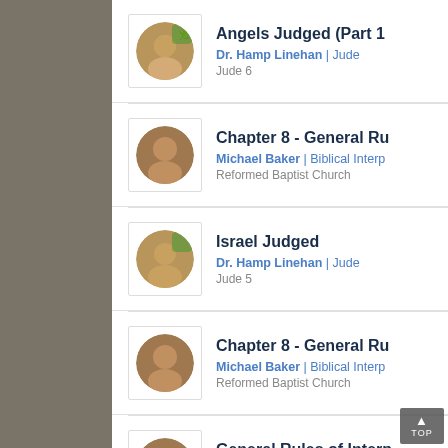Angels Judged (Part 1) — Dr. Hamp Linehan | Jude — Jude 6
Chapter 8 - General Ru... — Michael Baker | Biblical Interp... — Reformed Baptist Church
Israel Judged — Dr. Hamp Linehan | Jude — Jude 5
Chapter 8 - General Ru... — Michael Baker | Biblical Interp... — Reformed Baptist Church
General Rules of Interp... — Michael Baker | Biblical Interp... — Reformed Baptist Church